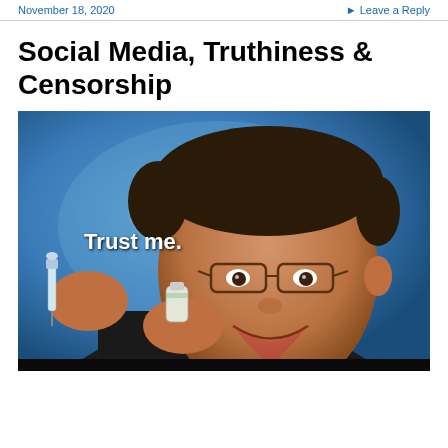November 18, 2020  ▸ Leave a Reply
Social Media, Truthiness & Censorship
[Figure (photo): A smiling man wearing glasses holding a syringe and a vaccine vial, with a blue background featuring a faint world map. White text overlay reads 'Trust me.']